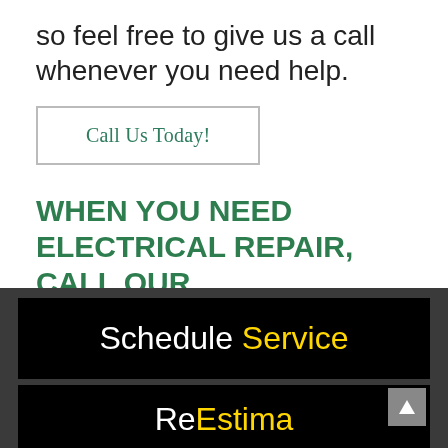so feel free to give us a call whenever you need help.
Call Us Today!
WHEN YOU NEED ELECTRICAL REPAIR, CALL OUR CONTRACTORS IN CLEMMONS, NC!
Schedule Service
Request an Estimate